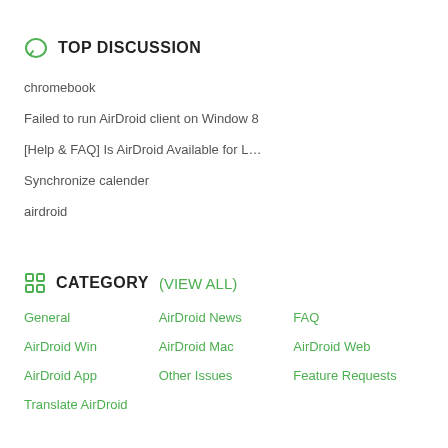TOP DISCUSSION
chromebook
Failed to run AirDroid client on Window 8
[Help & FAQ] Is AirDroid Available for L…
Synchronize calender
airdroid
CATEGORY (VIEW ALL)
General
AirDroid News
FAQ
AirDroid Win
AirDroid Mac
AirDroid Web
AirDroid App
Other Issues
Feature Requests
Translate AirDroid